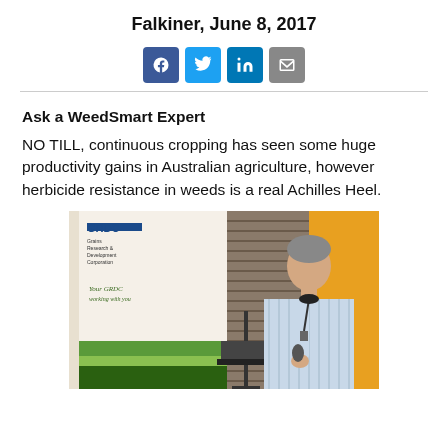Falkiner, June 8, 2017
[Figure (infographic): Social media sharing icons: Facebook, Twitter, LinkedIn, Email]
Ask a WeedSmart Expert
NO TILL, continuous cropping has seen some huge productivity gains in Australian agriculture, however herbicide resistance in weeds is a real Achilles Heel.
[Figure (photo): A man speaking at a podium/lectern holding a microphone, with a GRDC (Grains Research & Development Corporation) banner visible in the background. The banner reads 'GRDC Grains Research & Development Corporation' and 'Your GRDC working with you'. The background shows blinds and an orange wall panel.]